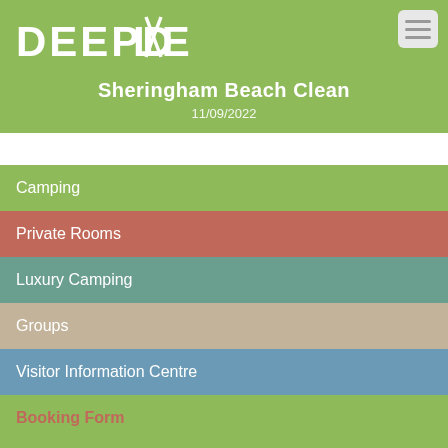[Figure (logo): Deepdale logo in white text on green background]
Sheringham Beach Clean
11/09/2022
Camping
Private Rooms
Luxury Camping
Groups
Visitor Information Centre
Booking Form
Bike Hire
Events